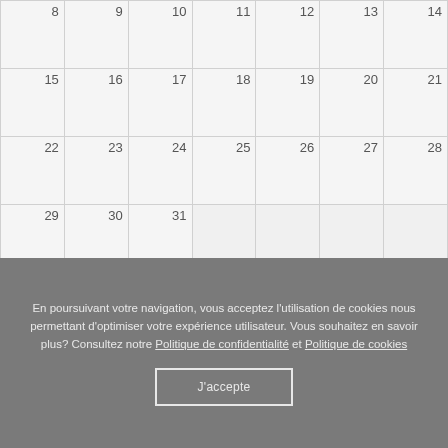|  |  |  |  |  |  |  |
| --- | --- | --- | --- | --- | --- | --- |
| 8 | 9 | 10 | 11 | 12 | 13 | 14 |
| 15 | 16 | 17 | 18 | 19 | 20 | 21 |
| 22 | 23 | 24 | 25 | 26 | 27 | 28 |
| 29 | 30 | 31 |  |  |  |  |
|  |  |  |  |  |  |  |
En poursuivant votre navigation, vous acceptez l'utilisation de cookies nous permettant d'optimiser votre expérience utilisateur. Vous souhaitez en savoir plus? Consultez notre Politique de confidentialité et Politique de cookies
J'accepte